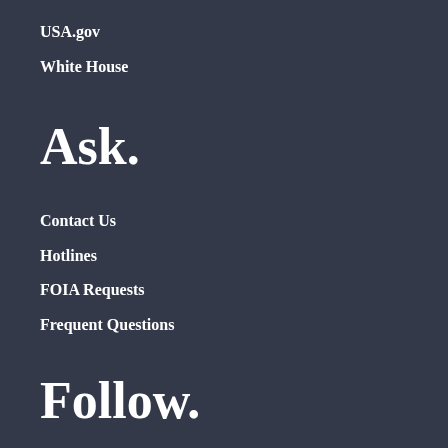USA.gov
White House
Ask.
Contact Us
Hotlines
FOIA Requests
Frequent Questions
Follow.